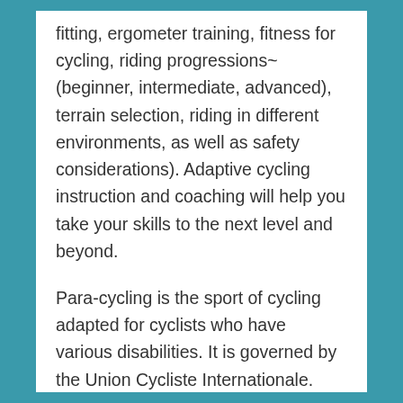fitting, ergometer training, fitness for cycling, riding progressions~(beginner, intermediate, advanced), terrain selection, riding in different environments, as well as safety considerations). Adaptive cycling instruction and coaching will help you take your skills to the next level and beyond.
Para-cycling is the sport of cycling adapted for cyclists who have various disabilities. It is governed by the Union Cycliste Internationale.